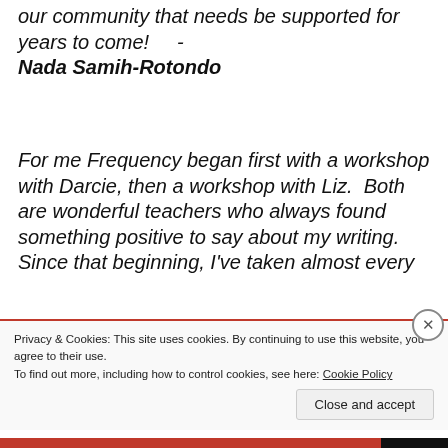our community that needs be supported for years to come!   -  Nada Samih-Rotondo
For me Frequency began first with a workshop with Darcie, then a workshop with Liz.  Both are wonderful teachers who always found something positive to say about my writing. Since that beginning, I've taken almost every
Privacy & Cookies: This site uses cookies. By continuing to use this website, you agree to their use.
To find out more, including how to control cookies, see here: Cookie Policy
Close and accept